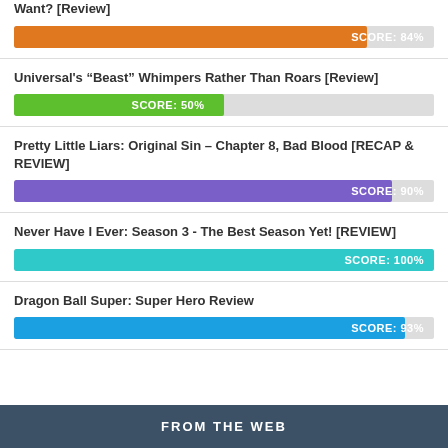Want? [Review]
[Figure (bar-chart): Score bar]
Universal’s “Beast” Whimpers Rather Than Roars [Review]
[Figure (bar-chart): Score bar]
Pretty Little Liars: Original Sin – Chapter 8, Bad Blood [RECAP & REVIEW]
[Figure (bar-chart): Score bar]
Never Have I Ever: Season 3 - The Best Season Yet! [REVIEW]
[Figure (bar-chart): Score bar]
Dragon Ball Super: Super Hero Review
[Figure (bar-chart): Score bar]
FROM THE WEB